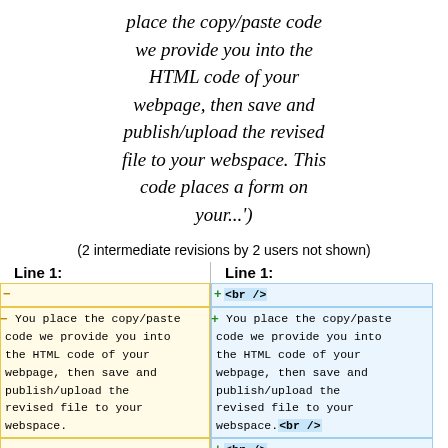place the copy/paste code we provide you into the HTML code of your webpage, then save and publish/upload the revised file to your webspace. This code places a form on your...')
(2 intermediate revisions by 2 users not shown)
| Line 1: | Line 1: |
| --- | --- |
| − | +<br /> |
| −You place the copy/paste code we provide you into the HTML code of your webpage, then save and publish/upload the revised file to your webspace. | +You place the copy/paste code we provide you into the HTML code of your webpage, then save and publish/upload the revised file to your webspace.<br /> |
| − | +<br /> |